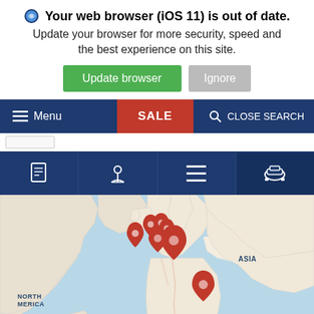Your web browser (iOS 11) is out of date. Update your browser for more security, speed and the best experience on this site.
Update browser | Ignore
Menu | SALE | CLOSE SEARCH
[Figure (map): World map with red location pins clustered over North Atlantic/Western Europe area and one pin over Eastern Europe/Turkey region. Labels: NORTH AMERICA, ASIA, AFRICA, SOUTH, OCEANIA visible.]